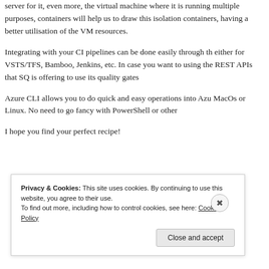server for it, even more, the virtual machine where it is running multiple purposes, containers will help us to draw this isolation containers, having a better utilisation of the VM resources.
Integrating with your CI pipelines can be done easily through the either for VSTS/TFS, Bamboo, Jenkins, etc. In case you want to using the REST APIs that SQ is offering to use its quality gates
Azure CLI allows you to do quick and easy operations into Azure MacOs or Linux. No need to go fancy with PowerShell or other
I hope you find your perfect recipe!
Privacy & Cookies: This site uses cookies. By continuing to use this website, you agree to their use.
To find out more, including how to control cookies, see here: Cookie Policy